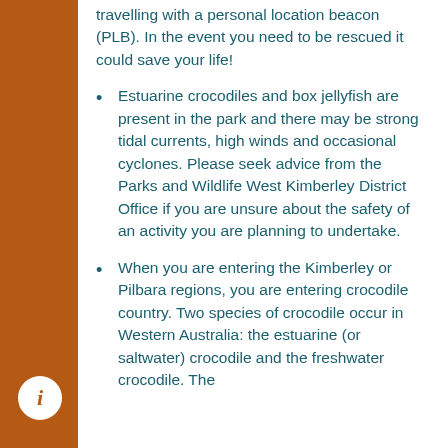travelling with a personal location beacon (PLB). In the event you need to be rescued it could save your life!
Estuarine crocodiles and box jellyfish are present in the park and there may be strong tidal currents, high winds and occasional cyclones. Please seek advice from the Parks and Wildlife West Kimberley District Office if you are unsure about the safety of an activity you are planning to undertake.
When you are entering the Kimberley or Pilbara regions, you are entering crocodile country. Two species of crocodile occur in Western Australia: the estuarine (or saltwater) crocodile and the freshwater crocodile. The